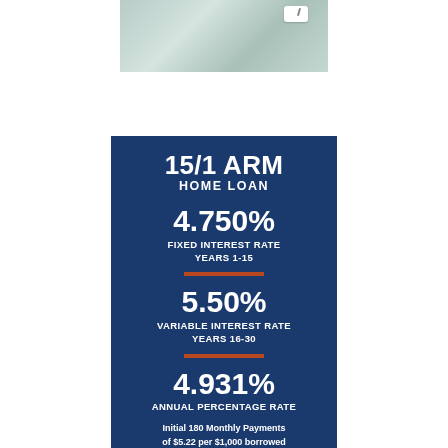[Figure (photo): Photo of a house or fabric texture with a price tag, shown as a cropped strip at top]
15/1 ARM HOME LOAN
4.750%
FIXED INTEREST RATE
YEARS 1-15
5.50%
VARIABLE INTEREST RATE
YEARS 16-30
4.931%
ANNUAL PERCENTAGE RATE
Initial 180 Monthly Payments of $5.22 per $1,000 borrowed
Remaining 180 Payments of $5.48 per $1,000 borrowed
Amounts for taxes and